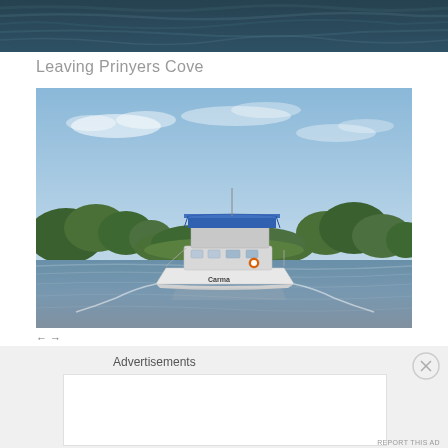[Figure (photo): Top portion of a water scene showing dark blue-green rippling water/waves, cropped at the top of the page]
Leaving Prinyers Cove
[Figure (photo): A white motorboat with a blue canopy/bimini top on a calm lake or river, with green tree-covered islands in the background and a blue sky with light clouds. The boat name appears to be 'Carma' or similar.]
← →
Advertisements
[Figure (screenshot): An advertisement for Automattic with the text 'Build a better web and a better world.']